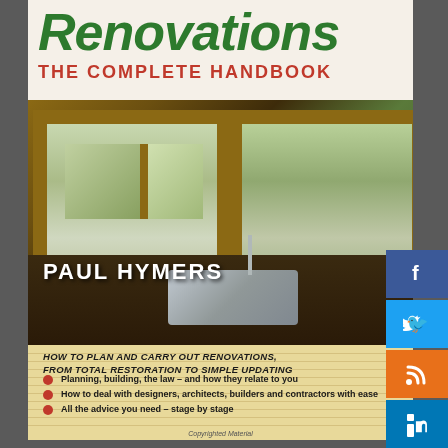Renovations
THE COMPLETE HANDBOOK
[Figure (photo): Interior kitchen/workspace photo showing wooden window frames with garden views outside, dark countertops, and a stainless steel sink]
PAUL HYMERS
HOW TO PLAN AND CARRY OUT RENOVATIONS, FROM TOTAL RESTORATION TO SIMPLE UPDATING
Planning, building, the law – and how they relate to you
How to deal with designers, architects, builders and contractors with ease
All the advice you need – stage by stage
Copyrighted Material